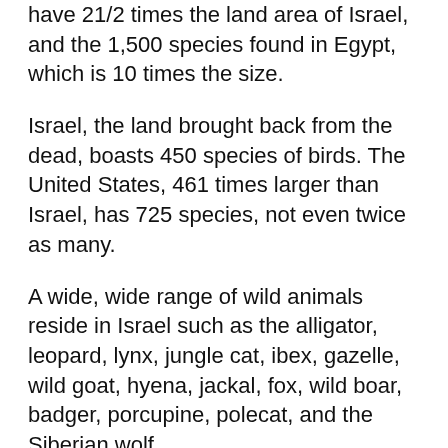have 21/2 times the land area of Israel, and the 1,500 species found in Egypt, which is 10 times the size.
Israel, the land brought back from the dead, boasts 450 species of birds. The United States, 461 times larger than Israel, has 725 species, not even twice as many.
A wide, wide range of wild animals reside in Israel such as the alligator, leopard, lynx, jungle cat, ibex, gazelle, wild goat, hyena, jackal, fox, wild boar, badger, porcupine, polecat, and the Siberian wolf.
Imagine: the people of Israel have planted over